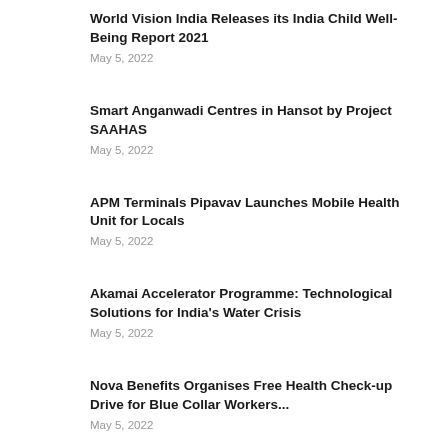World Vision India Releases its India Child Well-Being Report 2021
May 5, 2022
Smart Anganwadi Centres in Hansot by Project SAAHAS
May 5, 2022
APM Terminals Pipavav Launches Mobile Health Unit for Locals
May 5, 2022
Akamai Accelerator Programme: Technological Solutions for India's Water Crisis
May 5, 2022
Nova Benefits Organises Free Health Check-up Drive for Blue Collar Workers...
May 5, 2022